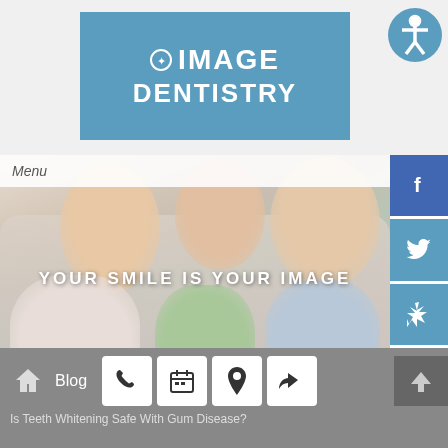[Figure (logo): Image Dentistry logo — white text on blue rectangle with tooth icon]
[Figure (photo): Happy family of four (mother, two daughters, father) smiling outdoors with overlay text YOUR SMILE IS YOUR IMAGE]
[Figure (infographic): Social media sidebar icons: Facebook, Twitter, Yelp, Instagram on blue buttons]
[Figure (infographic): Footer navigation bar with home icon, Blog link, phone/calendar/location/share action buttons, and up-arrow button. Text: Is Teeth Whitening Safe With Gum Disease?]